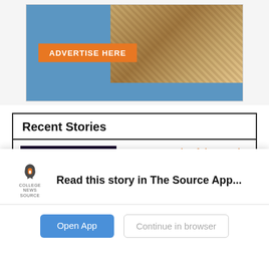[Figure (other): Advertisement banner with orange 'ADVERTISE HERE' button over a blue background with an owl image]
Recent Stories
[Figure (photo): Dark concert photo with purple and blue stage lighting, silhouette of performers and audience]
WBNY's 'Battle of the Bands' makes a rocking return
Thomas Tedesco, Vice President
May 20, 2022 • 1 Comment
Following a two-year absence, WBNY-FM's annual Battle of the Bands made its anticipated return Thursday, May 12 at Babeville's Ninth Ward. The basement of the former...
Read this story in The Source App...
Open App
Continue in browser